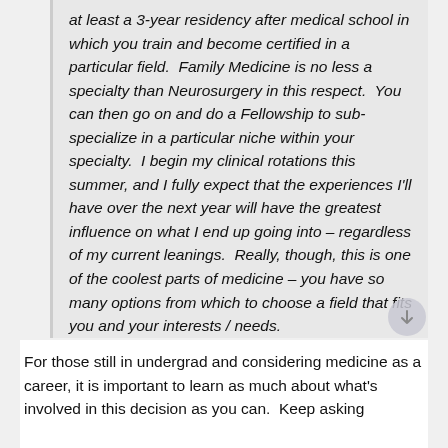at least a 3-year residency after medical school in which you train and become certified in a particular field.  Family Medicine is no less a specialty than Neurosurgery in this respect.  You can then go on and do a Fellowship to sub-specialize in a particular niche within your specialty.  I begin my clinical rotations this summer, and I fully expect that the experiences I'll have over the next year will have the greatest influence on what I end up going into – regardless of my current leanings.  Really, though, this is one of the coolest parts of medicine – you have so many options from which to choose a field that fits you and your interests / needs.
For those still in undergrad and considering medicine as a career, it is important to learn as much about what's involved in this decision as you can.  Keep asking